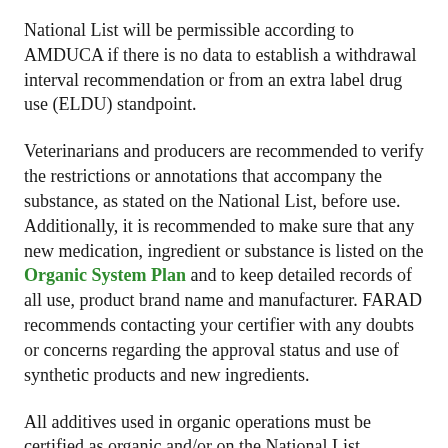National List will be permissible according to AMDUCA if there is no data to establish a withdrawal interval recommendation or from an extra label drug use (ELDU) standpoint.
Veterinarians and producers are recommended to verify the restrictions or annotations that accompany the substance, as stated on the National List, before use. Additionally, it is recommended to make sure that any new medication, ingredient or substance is listed on the Organic System Plan and to keep detailed records of all use, product brand name and manufacturer. FARAD recommends contacting your certifier with any doubts or concerns regarding the approval status and use of synthetic products and new ingredients.
All additives used in organic operations must be certified as organic and/or on the National List. Additionally trace minerals and vitamins must be FDA approved and can not contain any prohibited substances.